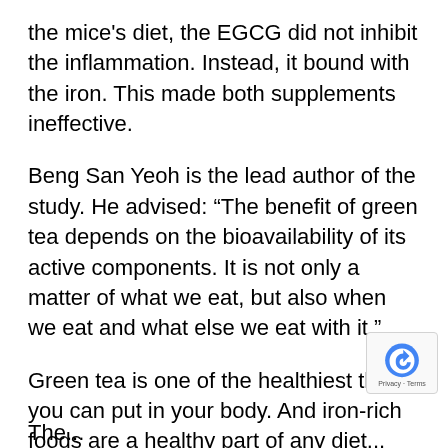the mice's diet, the EGCG did not inhibit the inflammation. Instead, it bound with the iron. This made both supplements ineffective.
Beng San Yeoh is the lead author of the study. He advised: “The benefit of green tea depends on the bioavailability of its active components. It is not only a matter of what we eat, but also when we eat and what else we eat with it.”
Green tea is one of the healthiest things you can put in your body. And iron-rich foods are a healthy part of any diet... Especially in the form of organic greens and grass-fed organic beef. But after eating an iron-rich meal or taking an iron supplement, wait fo about two hours to drink green tea.
The...